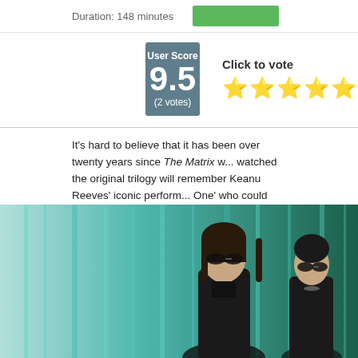Duration: 148 minutes
User Score
9.5
(2 votes)
Click to vote
It's hard to believe that it has been over twenty years since The Matrix w... watched the original trilogy will remember Keanu Reeves' iconic perform... One' who could fight back against the machines and liberate humankind... more memorable characters, such as Laurence Fishburne's Morpheus, ... Trinity, and of course, Hugo Weaving's creepy Agent Smith. After the tri... imagined a new installment to be released. Now, however, we received a... Matrix Resurrections in which Neo is seemingly alive and well, albeit on...
[Figure (photo): Two figures (Neo and Trinity) from The Matrix Resurrections standing in front of a teal/green digital rain background]